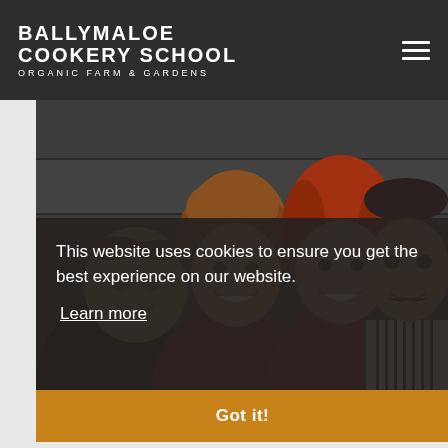BALLYMALOE COOKERY SCHOOL ORGANIC FARM & GARDENS
[Figure (photo): Four people posing together smiling — three women and one man wearing a striped apron and chef's cap, in front of a dark wooden background]
This website uses cookies to ensure you get the best experience on our website.
Learn more
Got it!